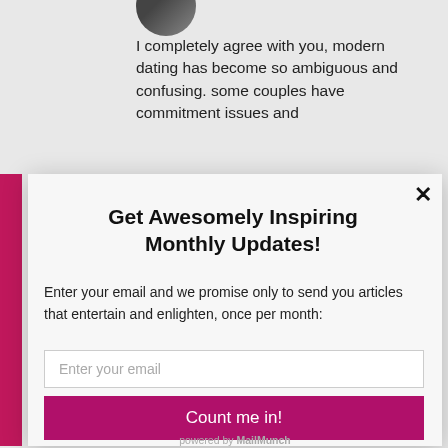[Figure (photo): Partial avatar/profile photo of a person, cropped circle at top]
I completely agree with you, modern dating has become so ambiguous and confusing. some couples have commitment issues and
×
Get Awesomely Inspiring Monthly Updates!
Enter your email and we promise only to send you articles that entertain and enlighten, once per month:
Enter your email
Count me in!
powered by MailMunch